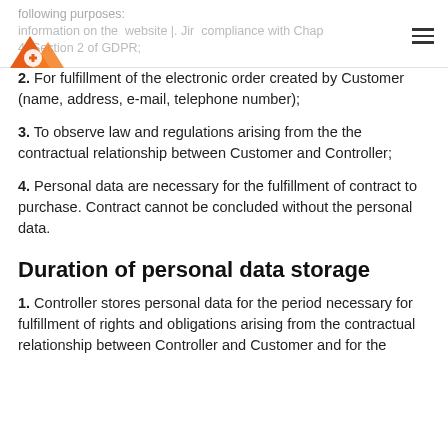following purposes: information on the website … in compliance with Chapter 4, Section 2 of GDPR;
2. For fulfillment of the electronic order created by Customer (name, address, e-mail, telephone number);
3. To observe law and regulations arising from the the contractual relationship between Customer and Controller;
4. Personal data are necessary for the fulfillment of contract to purchase. Contract cannot be concluded without the personal data.
Duration of personal data storage
1. Controller stores personal data for the period necessary for fulfillment of rights and obligations arising from the contractual relationship between Controller and Customer and for the